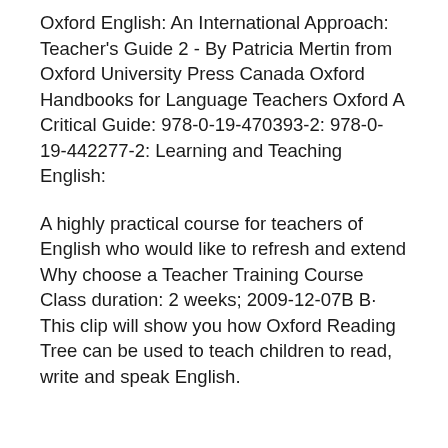Oxford English: An International Approach: Teacher's Guide 2 - By Patricia Mertin from Oxford University Press Canada Oxford Handbooks for Language Teachers Oxford A Critical Guide: 978-0-19-470393-2: 978-0-19-442277-2: Learning and Teaching English:
A highly practical course for teachers of English who would like to refresh and extend Why choose a Teacher Training Course Class duration: 2 weeks; 2009-12-07B B· This clip will show you how Oxford Reading Tree can be used to teach children to read, write and speak English. It shows Oxford Reading Tree...